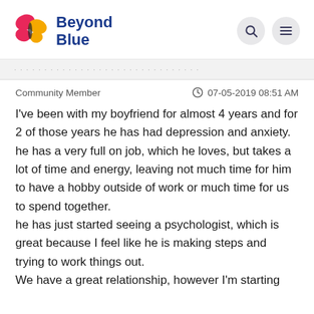[Figure (logo): Beyond Blue logo with butterfly icon in pink and yellow, and bold blue text reading 'Beyond Blue']
Community Member   07-05-2019 08:51 AM
I've been with my boyfriend for almost 4 years and for 2 of those years he has had depression and anxiety.
he has a very full on job, which he loves, but takes a lot of time and energy, leaving not much time for him to have a hobby outside of work or much time for us to spend together.
he has just started seeing a psychologist, which is great because I feel like he is making steps and trying to work things out.
We have a great relationship, however I'm starting